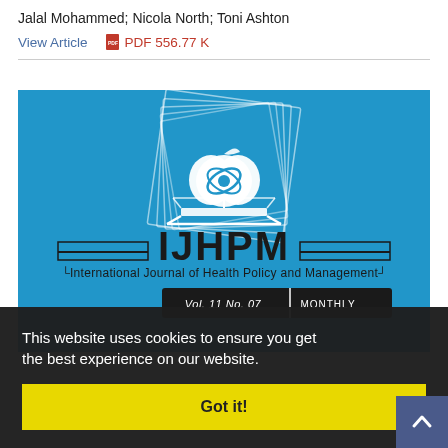Jalal Mohammed; Nicola North; Toni Ashton
View Article   PDF 556.77 K
[Figure (logo): IJHPM journal cover - blue background with apple/book logo, text: IJHPM International Journal of Health Policy and Management, Vol. 11 No. 07 MONTHLY]
This website uses cookies to ensure you get the best experience on our website.
Got it!